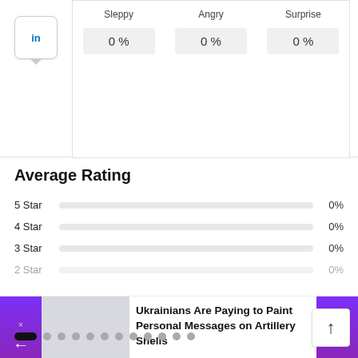| Sleppy | Angry | Surprise |
| --- | --- | --- |
| 0 % | 0 % | 0 % |
Average Rating
[Figure (bar-chart): Average Rating]
Ukrainians Are Paying to Paint Personal Messages on Artillery Shells
[Figure (infographic): Navigation dots row with 12 dots, first dot active (pill shape, black), rest gray circles]